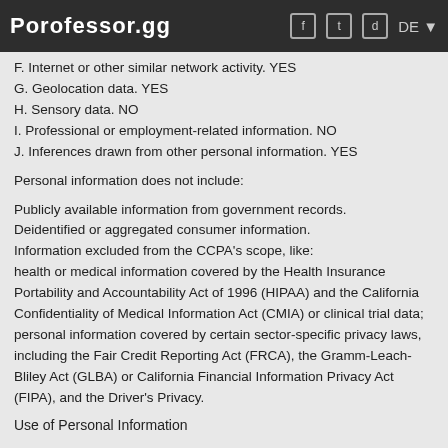Porofessor.gg  DE
F. Internet or other similar network activity. YES
G. Geolocation data. YES
H. Sensory data. NO
I. Professional or employment-related information. NO
J. Inferences drawn from other personal information. YES
Personal information does not include:
Publicly available information from government records.
Deidentified or aggregated consumer information.
Information excluded from the CCPA’s scope, like:
health or medical information covered by the Health Insurance Portability and Accountability Act of 1996 (HIPAA) and the California Confidentiality of Medical Information Act (CMIA) or clinical trial data;
personal information covered by certain sector-specific privacy laws, including the Fair Credit Reporting Act (FRCA), the Gramm-Leach-Bliley Act (GLBA) or California Financial Information Privacy Act (FIPA), and the Driver’s Privacy.
Use of Personal Information